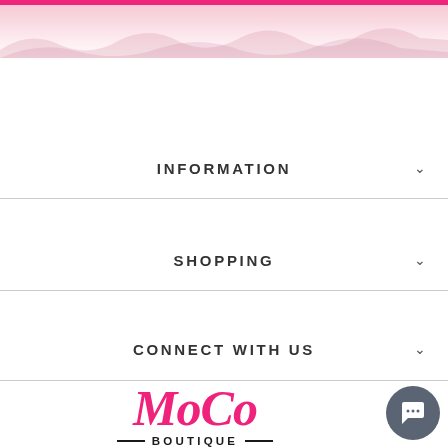[Figure (photo): Top banner area with pink gradient and decorative background image of clothing items or floral pattern]
INFORMATION
SHOPPING
CONNECT WITH US
[Figure (logo): MoCo Boutique logo with pink cursive MoCo text above BOUTIQUE text with dashes on both sides]